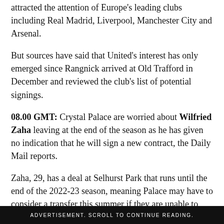attracted the attention of Europe's leading clubs including Real Madrid, Liverpool, Manchester City and Arsenal.
But sources have said that United's interest has only emerged since Rangnick arrived at Old Trafford in December and reviewed the club's list of potential signings.
08.00 GMT: Crystal Palace are worried about Wilfried Zaha leaving at the end of the season as he has given no indication that he will sign a new contract, the Daily Mail reports.
Zaha, 29, has a deal at Selhurst Park that runs until the end of the 2022-23 season, meaning Palace may have to consider a transfer this summer if they are unable to convince their star player to extend his stay.
ADVERTISEMENT. SCROLL TO CONTINUE READING.